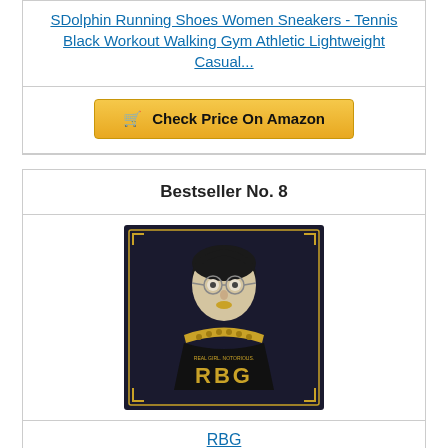SDolphin Running Shoes Women Sneakers - Tennis Black Workout Walking Gym Athletic Lightweight Casual...
Check Price On Amazon
Bestseller No. 8
[Figure (photo): Book/movie cover for RBG showing an illustrated portrait of Ruth Bader Ginsburg with glasses and her iconic collar, on a dark background with 'RBG' in gold letters]
RBG